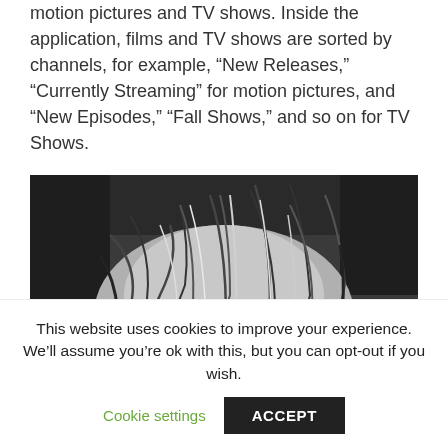motion pictures and TV shows. Inside the application, films and TV shows are sorted by channels, for example, “New Releases,” “Currently Streaming” for motion pictures, and “New Episodes,” “Fall Shows,” and so on for TV Shows.
[Figure (photo): Close-up black and white photograph of an animal (likely a cat or dog) showing fur and head detail from above.]
This website uses cookies to improve your experience. We’ll assume you’re ok with this, but you can opt-out if you wish.
Cookie settings   ACCEPT